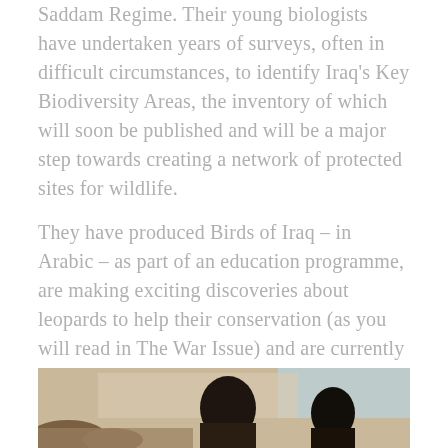Saddam Regime. Their young biologists have undertaken years of surveys, often in difficult circumstances, to identify Iraq's Key Biodiversity Areas, the inventory of which will soon be published and will be a major step towards creating a network of protected sites for wildlife.
They have produced Birds of Iraq – in Arabic – as part of an education programme, are making exciting discoveries about leopards to help their conservation (as you will read in The War Issue) and are currently at the forefront of writing a State of the Nation's report on Iraq's bird life.
[Figure (photo): A photograph showing two or more people viewed from behind, with dark hair, sitting or crouching among rocks. Background appears to show a light-colored wall or building. The image is partially cut off at the bottom of the page.]